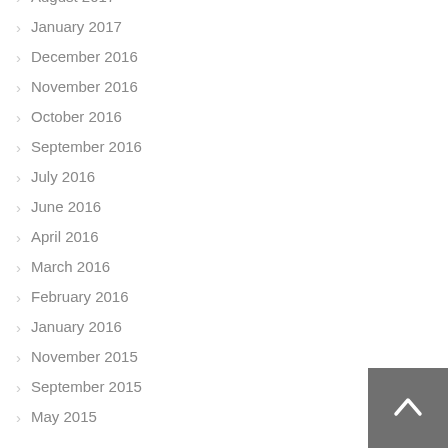August 2017
January 2017
December 2016
November 2016
October 2016
September 2016
July 2016
June 2016
April 2016
March 2016
February 2016
January 2016
November 2015
September 2015
May 2015